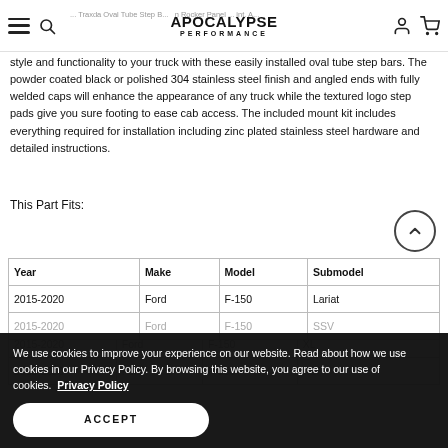Apocalypse Performance — Traxda Oval Tube Step Bars with Rocker Panel Mount. Account. Cart.
style and functionality to your truck with these easily installed oval tube step bars. The powder coated black or polished 304 stainless steel finish and angled ends with fully welded caps will enhance the appearance of any truck while the textured logo step pads give you sure footing to ease cab access. The included mount kit includes everything required for installation including zinc plated stainless steel hardware and detailed instructions.
This Part Fits:
| Year | Make | Model | Submodel |
| --- | --- | --- | --- |
| 2015-2020 | Ford | F-150 | Lariat |
| 2015-2020 | Ford | F-150 | SSV |
| 2015-2020 | Ford | F-150 | XL |
| 2015-2020 | Ford | F-150 | XLT |
We use cookies to improve your experience on our website. Read about how we use cookies in our Privacy Policy. By browsing this website, you agree to our use of cookies. Privacy Policy
ACCEPT